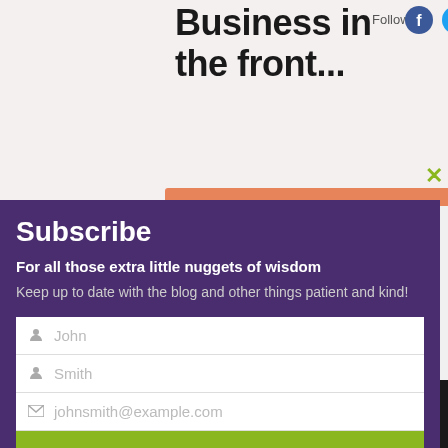Business in the front...
Follow
[Figure (screenshot): Social media follow icons: Facebook, Twitter, Instagram]
Subscribe
For all those extra little nuggets of wisdom
Keep up to date with the blog and other things patient and kind!
John (first name input field)
Smith (last name input field)
johnsmith@example.com (email input field)
Submit
[Figure (screenshot): DuckDuckGo advertisement: Search, browse, and email with more privacy. All in One Free App.]